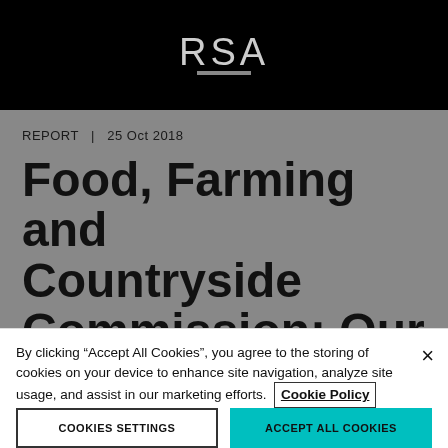RSA
REPORT   |   25 Oct 2018
Food, Farming and Countryside Commission: Our
By clicking “Accept All Cookies”, you agree to the storing of cookies on your device to enhance site navigation, analyze site usage, and assist in our marketing efforts. Cookie Policy
COOKIES SETTINGS
ACCEPT ALL COOKIES